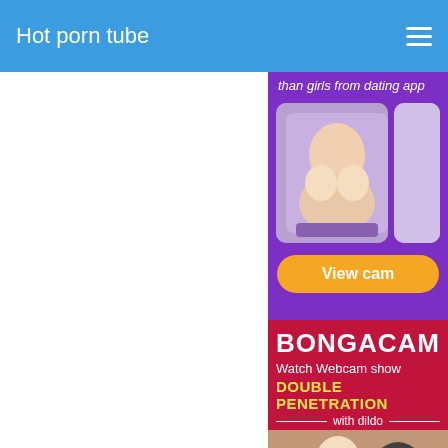Hot porn tube
[Figure (screenshot): Advertisement banner with purple background showing webcam girls text 'than girls from dating app' and a blonde woman with glasses posing, with a 'View cam' orange button]
[Figure (screenshot): BongaCam advertisement banner with red background showing 'BONGACAM Watch Webcam show DOUBLE PENETRATION with dildo' and an image of a blonde woman]